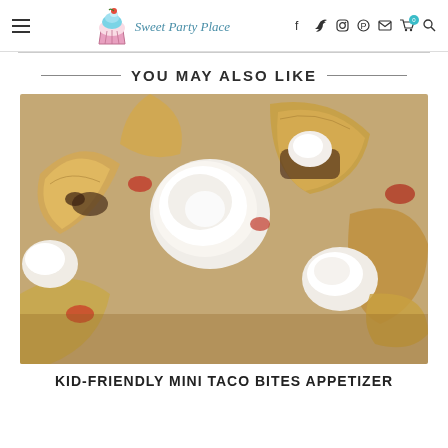Sweet Party Place — navigation header with logo and social icons
YOU MAY ALSO LIKE
[Figure (photo): Close-up photo of mini taco bites appetizers with sour cream dollops on top, crispy taco shells visible]
KID-FRIENDLY MINI TACO BITES APPETIZER